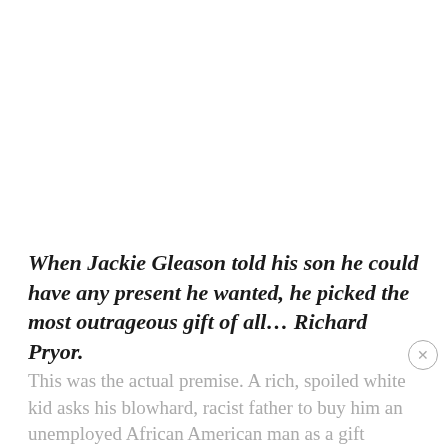When Jackie Gleason told his son he could have any present he wanted, he picked the most outrageous gift of all… Richard Pryor.
This was the actual premise. A rich, spoiled white kid asks his blowhard, racist father to buy him an unemployed African American man as a gift